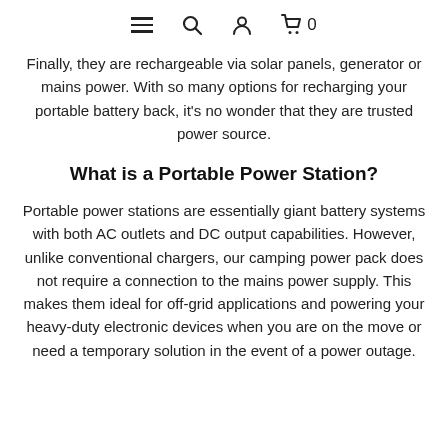Navigation bar with hamburger menu, search, user, and cart (0) icons
Finally, they are rechargeable via solar panels, generator or mains power. With so many options for recharging your portable battery back, it's no wonder that they are trusted power source.
What is a Portable Power Station?
Portable power stations are essentially giant battery systems with both AC outlets and DC output capabilities. However, unlike conventional chargers, our camping power pack does not require a connection to the mains power supply. This makes them ideal for off-grid applications and powering your heavy-duty electronic devices when you are on the move or need a temporary solution in the event of a power outage.